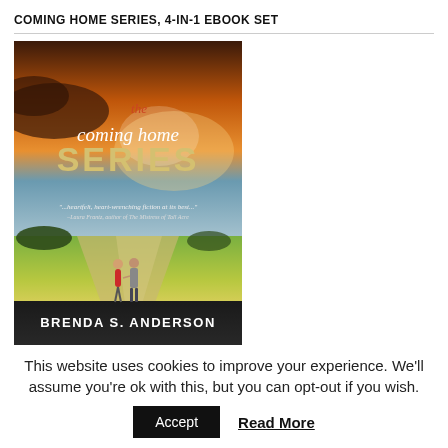COMING HOME SERIES, 4-IN-1 EBOOK SET
[Figure (photo): Book cover for 'The Coming Home Series' by Brenda S. Anderson. Shows a couple walking hand-in-hand down a rural dirt road through golden fields under a dramatic sky. Text on cover includes the title in script and serif fonts, a blurb reading '...heartfelt, heart-wrenching fiction at its best...' attributed to Laura Frantz, author of The Mistress of Tall Acre, and the author name BRENDA S. ANDERSON at the bottom.]
This website uses cookies to improve your experience. We'll assume you're ok with this, but you can opt-out if you wish.
Accept
Read More